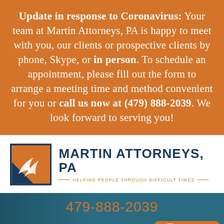Update in response to Coronavirus: Your team at Martin Attorneys, PA is happy to meet with you, our clients or prospective clients by phone, Skype, or in person. To schedule an appointment, please fill out the form to arrange a meeting time and method convenient for you or call us now at (479) 888-2039. We look forward to serving you!
[Figure (logo): Martin Attorneys PA logo with orange and dark blue shield/hand graphic and firm name with tagline 'Helping People Through Difficult Times']
479-888-2039
[Figure (infographic): Dark teal website footer showing orange hamburger menu button and orange 'Text Us Now' button with female avatar photo]